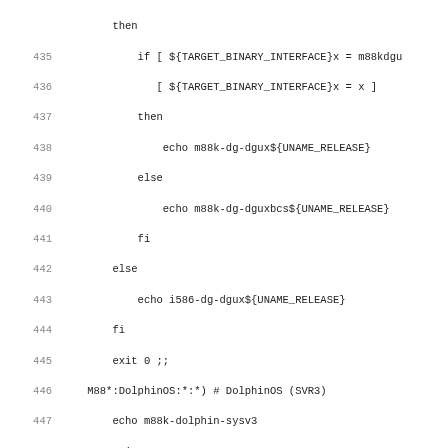Code listing lines 435-466, shell script with system detection cases